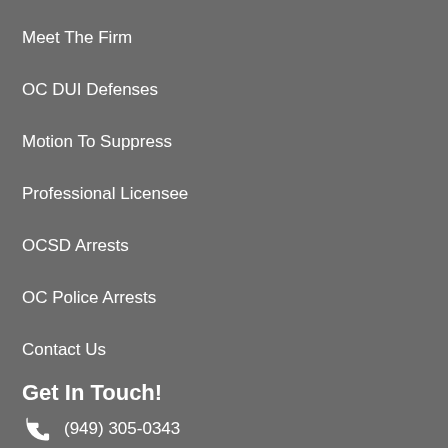Meet The Firm
OC DUI Defenses
Motion To Suppress
Professional Licensee
OCSD Arrests
OC Police Arrests
Contact Us
Get In Touch!
(949) 305-0343